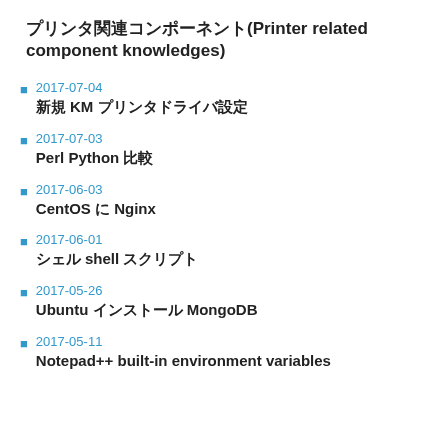プリンタ関連コンポーネント(Printer related component knowledges)
2017-07-04
新規 KM プリンタドライバ設定
2017-07-03
Perl Python 比較
2017-06-03
CentOS に Nginx
2017-06-01
シェル shell スクリプト
2017-05-26
Ubuntu インストール MongoDB
2017-05-11
Notepad++ built-in environment variables